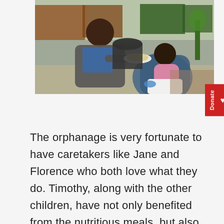[Figure (photo): A woman in a grey jacket and blue shirt feeding a baby/toddler in a pink outfit sitting in a blue plastic chair outdoors, with food on a plate. Background shows containers and outdoor area.]
The orphanage is very fortunate to have caretakers like Jane and Florence who both love what they do. Timothy, along with the other children, have not only benefited from the nutritious meals, but also the love and support